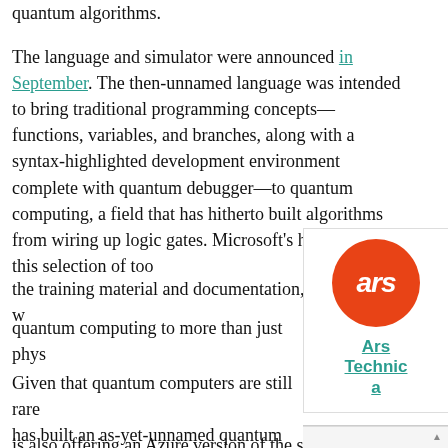quantum algorithms.
The language and simulator were announced in September. The then-unnamed language was intended to bring traditional programming concepts—functions, variables, and branches, along with a syntax-highlighted development environment complete with quantum debugger—to quantum computing, a field that has hitherto built algorithms from wiring up logic gates. Microsoft's hope is that this selection of tools, along with the training material and documentation, will open up quantum computing to more than just physicists.
[Figure (logo): Ars Technica logo: orange circle with 'ars' text in white italic, and 'Ars Technica' link text below]
Given that quantum computers are still rare, Microsoft has built an as-yet-unnamed quantum simulator to run those quantum programs. The local version, available as part of the preview, can support programs using up to 30 quantum bits (qubits), using some 32GB of RAM. Microsoft is also offering an Azure version of the simulator, scaling